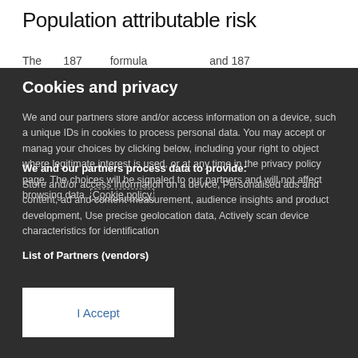Population attributable risk
The … 187 … formula … by … the … and 187 …
Cookies and privacy
We and our partners store and/or access information on a device, such a unique IDs in cookies to process personal data. You may accept or manage your choices by clicking below, including your right to object where legitimate interest is used, or at any time in the privacy policy page. These choices will be signaled to our partners and will not affect browsing data. Cookie policy
We and our partners process data to provide:
Store and/or access information on a device, Personalised ads and content, ad and content measurement, audience insights and product development, Use precise geolocation data, Actively scan device characteristics for identification
List of Partners (vendors)
I Accept